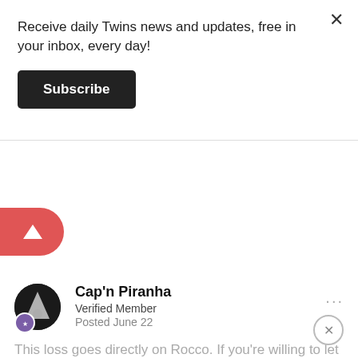Receive daily Twins news and updates, free in your inbox, every day!
Subscribe
[Figure (illustration): Red upvote button with white upward arrow, rounded on the right side]
Cap'n Piranha
Verified Member
Posted June 22
This loss goes directly on Rocco. If you're willing to let